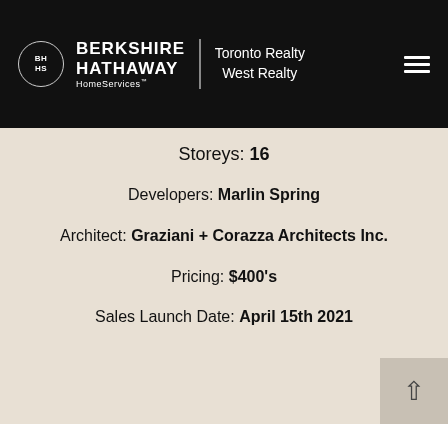[Figure (logo): Berkshire Hathaway HomeServices Toronto Realty West Realty logo with hamburger menu on black header bar]
Storeys: 16
Developers: Marlin Spring
Architect: Graziani + Corazza Architects Inc.
Pricing: $400's
Sales Launch Date: April 15th 2021